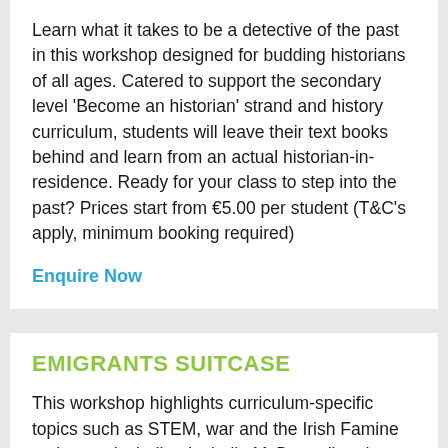Learn what it takes to be a detective of the past in this workshop designed for budding historians of all ages. Catered to support the secondary level 'Become an historian' strand and history curriculum, students will leave their text books behind and learn from an actual historian-in-residence. Ready for your class to step into the past? Prices start from €5.00 per student (T&C's apply, minimum booking required)
Enquire Now
EMIGRANTS SUITCASE
This workshop highlights curriculum-specific topics such as STEM, war and the Irish Famine emigrants including Isabella McDougall and